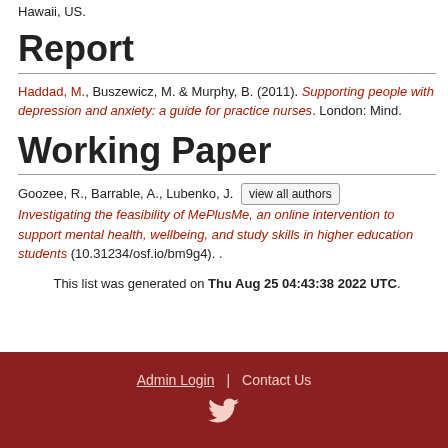Hawaii, US.
Report
Haddad, M., Buszewicz, M. & Murphy, B. (2011). Supporting people with depression and anxiety: a guide for practice nurses. London: Mind.
Working Paper
Goozee, R., Barrable, A., Lubenko, J. [view all authors] Investigating the feasibility of MePlusMe, an online intervention to support mental health, wellbeing, and study skills in higher education students (10.31234/osf.io/bm9g4). .
This list was generated on Thu Aug 25 04:43:38 2022 UTC.
Admin Login | Contact Us